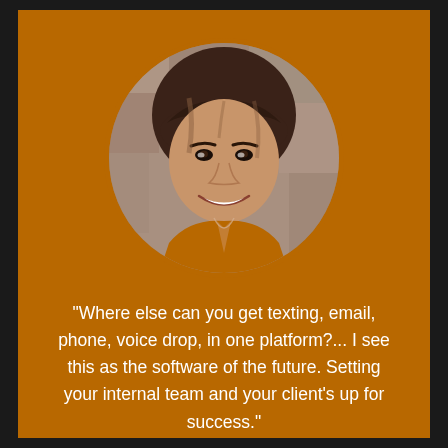[Figure (photo): Circular cropped portrait photo of a young woman with shoulder-length brown hair and bangs, smiling, wearing an orange-brown top, against a blurred stone background.]
"Where else can you get texting, email, phone, voice drop, in one platform?... I see this as the software of the future. Setting your internal team and your client's up for success."